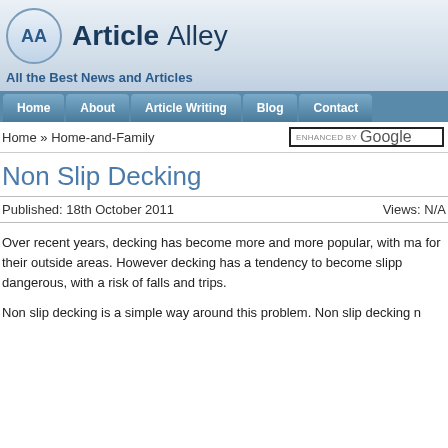AA Article Alley
All the Best News and Articles
Home | About | Article Writing | Blog | Contact
Home » Home-and-Family
Non Slip Decking
Published: 18th October 2011    Views: N/A
Over recent years, decking has become more and more popular, with ma for their outside areas. However decking has a tendency to become slipp dangerous, with a risk of falls and trips.
Non slip decking is a simple way around this problem. Non slip decking n